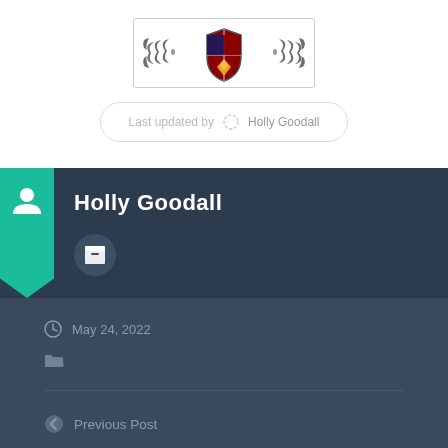[Figure (logo): University crest/shield logo with decorative scroll ornaments in a bordered box]
Last updated by Holly Goodall
Holly Goodall
May 24, 2022
Previous Post